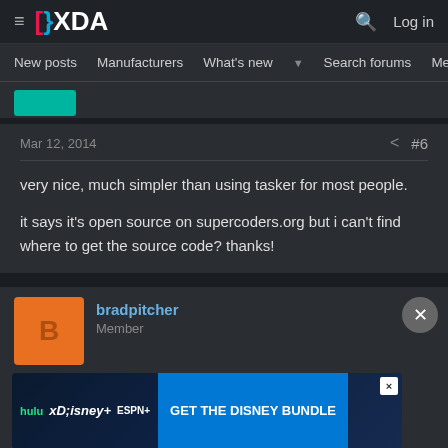≡  [}XDA   🔍  Log in
New posts  Manufacturers  What's new ▾  Search forums  Membe  >
Mar 12, 2014  #6
very nice, much simpler than using tasker for most people.

it says it's open source on supercoders.org but i can't find where to get the source code? thanks!
bradpitcher
Member
[Figure (screenshot): Disney Bundle advertisement banner showing Hulu, Disney+, and ESPN+ logos with 'GET THE DISNEY BUNDLE' call to action]
Jul 4, 2014